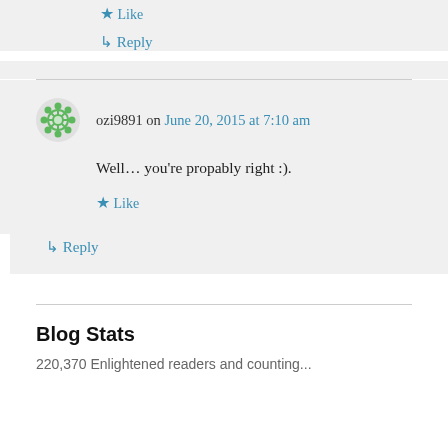Like
↵ Reply
ozi9891 on June 20, 2015 at 7:10 am
Well… you're propably right :).
Like
↵ Reply
Blog Stats
220,370 Enlightened readers and counting...